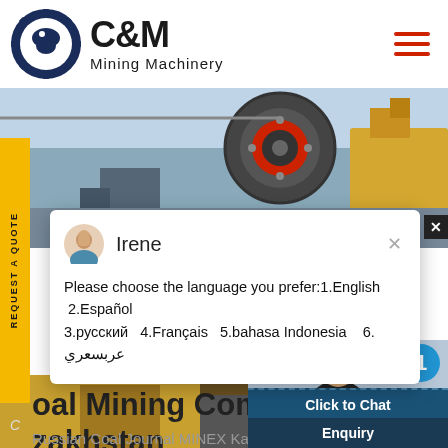[Figure (logo): C&M Mining Machinery logo with circular gear/eagle emblem in dark blue and white, company name in bold text]
[Figure (photo): Mining machinery equipment - crusher/industrial equipment in grey and yellow tones]
[Figure (screenshot): Chat popup window with avatar of Irene, showing language selection options: 1.English 2.Español 3.русский 4.Français 5.bahasa Indonesia 6. عربسعري]
Coal Mining Companies in Kazakhstan
Russian Coal Journal MINEX Kazakhstan (Russian Coal Journal) publishes in
[Figure (photo): Customer service representative woman with headset smiling, with chat interface showing Click to Chat button and Enquiry section, with notification badge showing number 1]